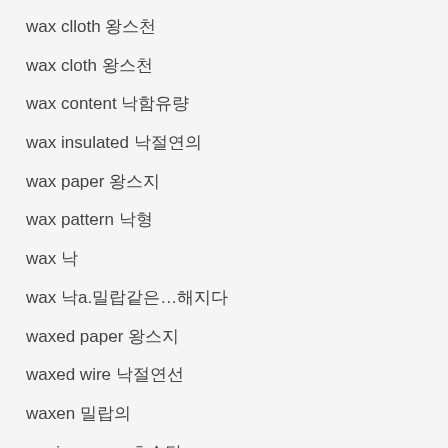wax clloth 왁스천
wax cloth 왁스천
wax content 납함유량
wax insulated 납절연의
wax paper 왁스지
wax pattern 납형
wax 납
wax 납a.밀랍같은…해지다
waxed paper 왁스지
waxed wire 납절연선
waxen 밀납의
waxing moon 초승달